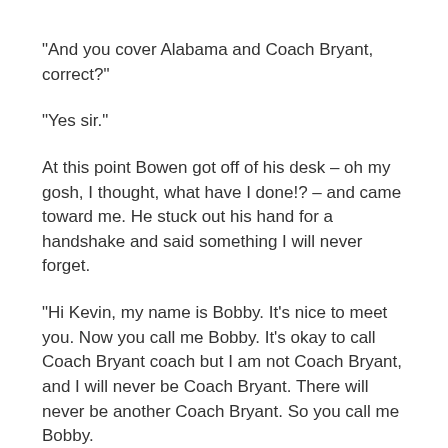"And you cover Alabama and Coach Bryant, correct?"
"Yes sir."
At this point Bowen got off of his desk – oh my gosh, I thought, what have I done!? – and came toward me. He stuck out his hand for a handshake and said something I will never forget.
"Hi Kevin, my name is Bobby. It's nice to meet you. Now you call me Bobby. It's okay to call Coach Bryant coach but I am not Coach Bryant, and I will never be Coach Bryant. There will never be another Coach Bryant. So you call me Bobby.
"Now I'm going to go back to my desk and I want you to